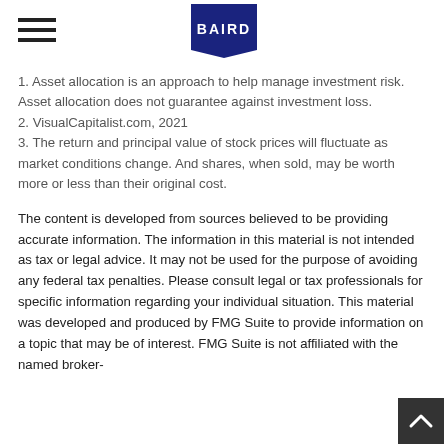BAIRD
1. Asset allocation is an approach to help manage investment risk. Asset allocation does not guarantee against investment loss.
2. VisualCapitalist.com, 2021
3. The return and principal value of stock prices will fluctuate as market conditions change. And shares, when sold, may be worth more or less than their original cost.
The content is developed from sources believed to be providing accurate information. The information in this material is not intended as tax or legal advice. It may not be used for the purpose of avoiding any federal tax penalties. Please consult legal or tax professionals for specific information regarding your individual situation. This material was developed and produced by FMG Suite to provide information on a topic that may be of interest. FMG Suite is not affiliated with the named broker-